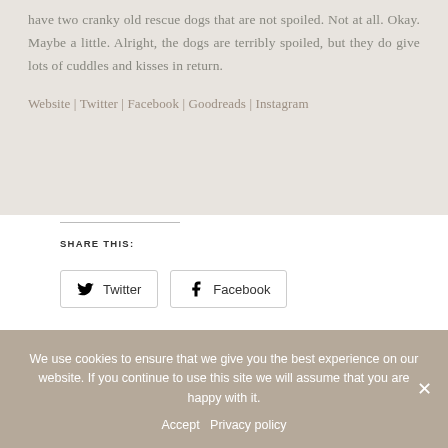have two cranky old rescue dogs that are not spoiled. Not at all. Okay. Maybe a little. Alright, the dogs are terribly spoiled, but they do give lots of cuddles and kisses in return.
Website | Twitter | Facebook | Goodreads | Instagram
SHARE THIS:
Twitter   Facebook
LIKE THIS:
We use cookies to ensure that we give you the best experience on our website. If you continue to use this site we will assume that you are happy with it.
Accept   Privacy policy